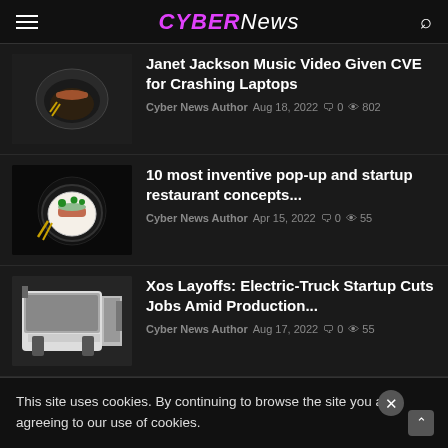CYBERNews
Janet Jackson Music Video Given CVE for Crashing Laptops
Cyber News Author  Aug 18, 2022  0  802
10 most inventive pop-up and startup restaurant concepts...
Cyber News Author  Apr 15, 2022  0  55
Xos Layoffs: Electric-Truck Startup Cuts Jobs Amid Production...
Cyber News Author  Aug 17, 2022  0  55
Jennifer Munn becomes Chief Marketing... DreamBox...
Cyber News Author  Jul 7, 2022  0  46
This site uses cookies. By continuing to browse the site you are agreeing to our use of cookies.